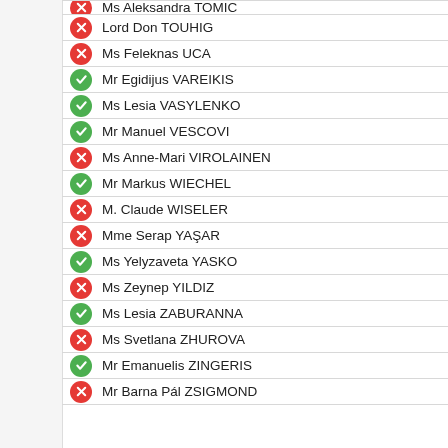Ms Aleksandra TОМІС
Lord Don TOUHIG
Ms Feleknas UCA
Mr Egidijus VAREIKIS
Ms Lesia VASYLENKO
Mr Manuel VESCOVI
Ms Anne-Mari VIROLAINEN
Mr Markus WIECHEL
M. Claude WISELER
Mme Serap YAŞAR
Ms Yelyzaveta YASKO
Ms Zeynep YILDIZ
Ms Lesia ZABURANNA
Ms Svetlana ZHUROVA
Mr Emanuelis ZINGERIS
Mr Barna Pál ZSIGMOND